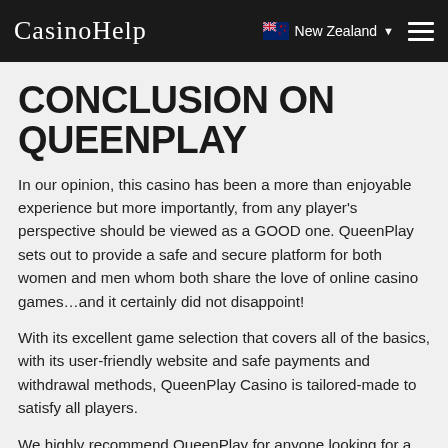CasinoHelp — New Zealand
CONCLUSION ON QUEENPLAY
In our opinion, this casino has been a more than enjoyable experience but more importantly, from any player's perspective should be viewed as a GOOD one. QueenPlay sets out to provide a safe and secure platform for both women and men whom both share the love of online casino games…and it certainly did not disappoint!
With its excellent game selection that covers all of the basics, with its user-friendly website and safe payments and withdrawal methods, QueenPlay Casino is tailored-made to satisfy all players.
We highly recommend QueenPlay for anyone looking for a